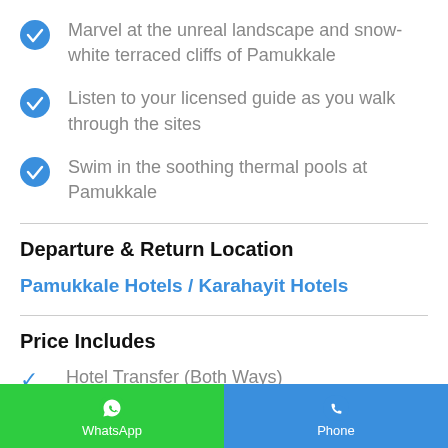Marvel at the unreal landscape and snow-white terraced cliffs of Pamukkale
Listen to your licensed guide as you walk through the sites
Swim in the soothing thermal pools at Pamukkale
Departure & Return Location
Pamukkale Hotels / Karahayit Hotels
Price Includes
Hotel Transfer (Both Ways)